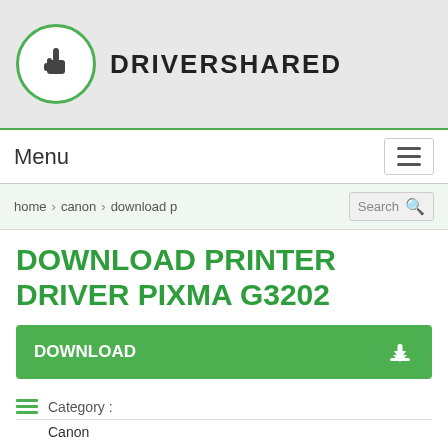[Figure (logo): DriverShared logo with hand pointer icon in a green circle and bold text DRIVERSHARED]
Menu
home > canon > download p
DOWNLOAD PRINTER DRIVER PIXMA G3202
DOWNLOAD
Category :
Canon
Writer By :
Tony Liam
File Size :